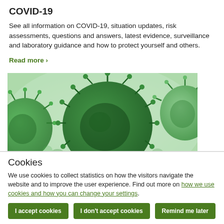COVID-19
See all information on COVID-19, situation updates, risk assessments, questions and answers, latest evidence, surveillance and laboratory guidance and how to protect yourself and others.
Read more ›
[Figure (photo): Microscopic image of coronavirus particles, green-tinted electron microscopy photograph showing multiple spherical virus particles with spike proteins on their surface.]
Cookies
We use cookies to collect statistics on how the visitors navigate the website and to improve the user experience. Find out more on how we use cookies and how you can change your settings.
I accept cookies | I don't accept cookies | Remind me later